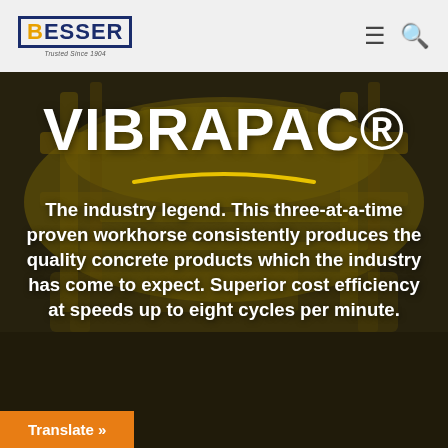BESSER — Trusted Since 1904
[Figure (photo): Blurred background photo of yellow industrial concrete block machine (Vibrapac machine) in a manufacturing facility]
VIBRAPAC®
The industry legend. This three-at-a-time proven workhorse consistently produces the quality concrete products which the industry has come to expect. Superior cost efficiency at speeds up to eight cycles per minute.
Translate »